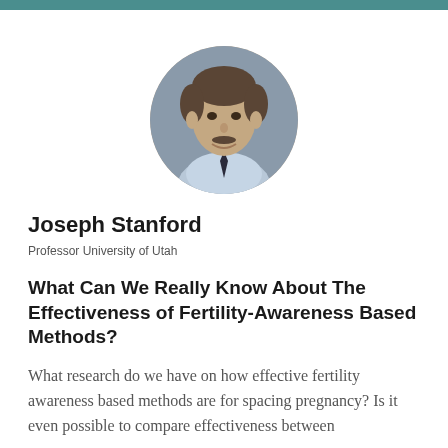[Figure (photo): Circular headshot photo of Joseph Stanford, a middle-aged man in a light blue shirt and dark tie, with a neutral/slight smile expression]
Joseph Stanford
Professor University of Utah
What Can We Really Know About The Effectiveness of Fertility-Awareness Based Methods?
What research do we have on how effective fertility awareness based methods are for spacing pregnancy? Is it even possible to compare effectiveness between